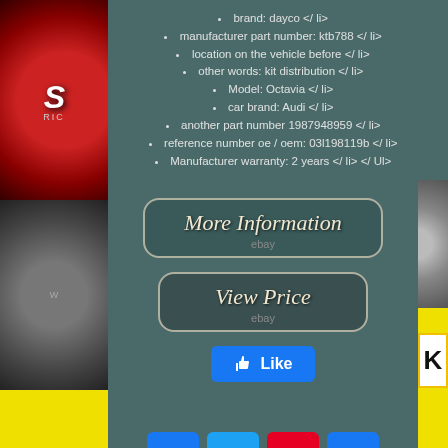brand: dayco </ li>
manufacturer part number: ktb788 </ li>
location on the vehicle before </ li>
other words: kit distribution </ li>
Model: Octavia </ li>
car brand: Audi </ li>
another part number 1987948959 </ li>
reference number oe / oem: 03l198119b </ li>
Manufacturer warranty: 2 years </ li> </ Ul>
[Figure (screenshot): More Information ebay button with rounded rectangle border]
[Figure (screenshot): View Price ebay button with rounded rectangle border]
[Figure (screenshot): Facebook Like button]
[Figure (screenshot): Social media share buttons: Facebook, Twitter, Pinterest, Email]